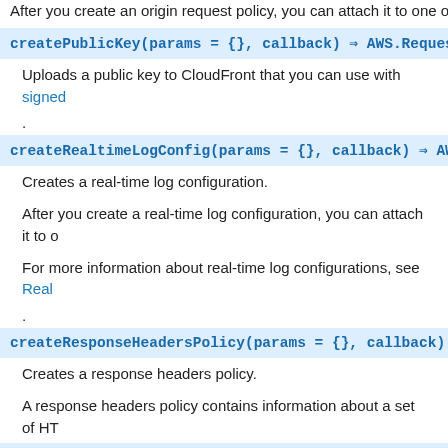After you create an origin request policy, you can attach it to one o
createPublicKey(params = {}, callback) ⇒ AWS.Reques
Uploads a public key to CloudFront that you can use with signed
.
createRealtimeLogConfig(params = {}, callback) ⇒ AW
Creates a real-time log configuration.
After you create a real-time log configuration, you can attach it to o
For more information about real-time log configurations, see Real
.
createResponseHeadersPolicy(params = {}, callback)
Creates a response headers policy.
A response headers policy contains information about a set of HT
createStreamingDistribution(params = {}, callback)
This API is deprecated.